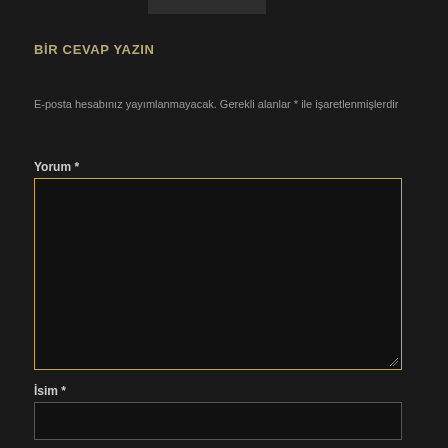BİR CEVAP YAZIN
E-posta hesabınız yayımlanmayacak. Gerekli alanlar * ile işaretlenmişlerdir
Yorum *
İsim *